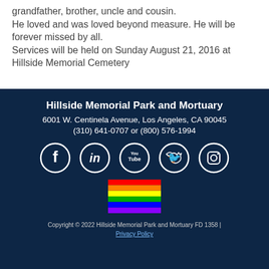grandfather, brother, uncle and cousin.
He loved and was loved beyond measure. He will be forever missed by all.
Services will be held on Sunday August 21, 2016 at Hillside Memorial Cemetery
Hillside Memorial Park and Mortuary
6001 W. Centinela Avenue, Los Angeles, CA 90045
(310) 641-0707 or (800) 576-1994
Copyright © 2022 Hillside Memorial Park and Mortuary FD 1358 | Privacy Policy